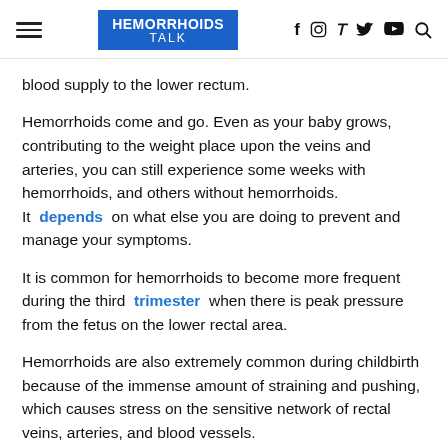HEMORRHOIDS TALK
blood supply to the lower rectum.
Hemorrhoids come and go. Even as your baby grows, contributing to the weight place upon the veins and arteries, you can still experience some weeks with hemorrhoids, and others without hemorrhoids. It depends on what else you are doing to prevent and manage your symptoms.
It is common for hemorrhoids to become more frequent during the third trimester when there is peak pressure from the fetus on the lower rectal area.
Hemorrhoids are also extremely common during childbirth because of the immense amount of straining and pushing, which causes stress on the sensitive network of rectal veins, arteries, and blood vessels.